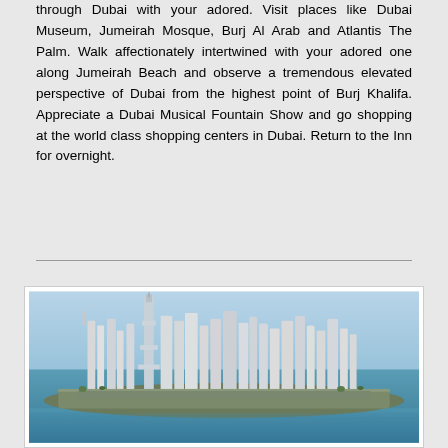through Dubai with your adored. Visit places like Dubai Museum, Jumeirah Mosque, Burj Al Arab and Atlantis The Palm. Walk affectionately intertwined with your adored one along Jumeirah Beach and observe a tremendous elevated perspective of Dubai from the highest point of Burj Khalifa. Appreciate a Dubai Musical Fountain Show and go shopping at the world class shopping centers in Dubai. Return to the Inn for overnight.
[Figure (photo): Aerial photograph of a modern city skyline with tall skyscrapers and high-rise buildings situated on a coastline surrounded by blue water, appearing to be a Dubai or Abu Dhabi waterfront development.]